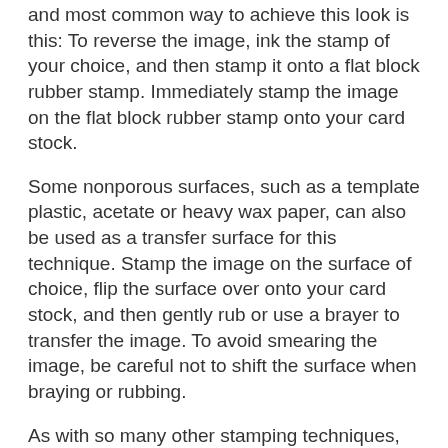and most common way to achieve this look is this: To reverse the image, ink the stamp of your choice, and then stamp it onto a flat block rubber stamp. Immediately stamp the image on the flat block rubber stamp onto your card stock.
Some nonporous surfaces, such as a template plastic, acetate or heavy wax paper, can also be used as a transfer surface for this technique. Stamp the image on the surface of choice, flip the surface over onto your card stock, and then gently rub or use a brayer to transfer the image. To avoid smearing the image, be careful not to shift the surface when braying or rubbing.
As with so many other stamping techniques, there are certain factors to consider when reverse-image stamping:
Not all images are appropriate for reverse stamping — especially letters or words.
Remember that your reversed image will be a second-generation stamped image. The ink will be